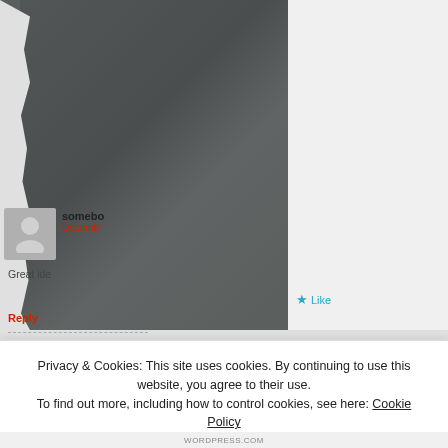[Figure (photo): Dark gray torn-edge photo occupying the left side of the page]
somebo
Decemb
Great ide
Like
Reply
John
Dece
Try i
Privacy & Cookies: This site uses cookies. By continuing to use this website, you agree to their use.
To find out more, including how to control cookies, see here: Cookie Policy
Close and accept
WORDPRESS.COM